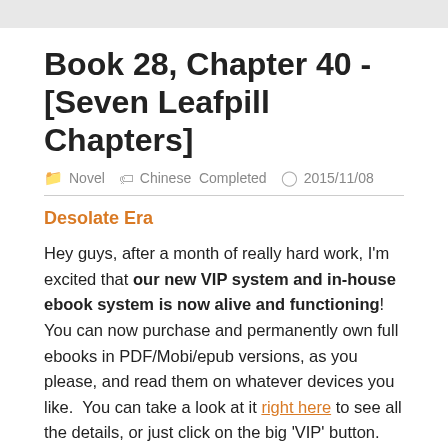Book 28, Chapter 40 - [Seven Leafpill Chapters]
Novel  Chinese  Completed  2015/11/08
Desolate Era
Hey guys, after a month of really hard work, I'm excited that our new VIP system and in-house ebook system is now alive and functioning!  You can now purchase and permanently own full ebooks in PDF/Mobi/epub versions, as you please, and read them on whatever devices you like.  You can take a look at it right here to see all the details, or just click on the big 'VIP' button.  NOTE - For former sponsors